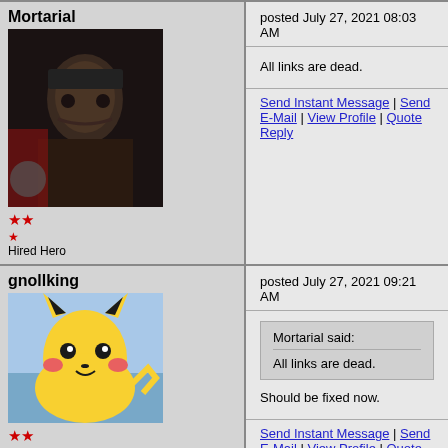Mortarial
★★ Hired Hero
posted July 27, 2021 08:03 AM
All links are dead.
Send Instant Message | Send E-Mail | View Profile | Quote Reply
gnollking
★★ ★★★★★ Supreme Hero
posted July 27, 2021 09:21 AM
Mortarial said: All links are dead.
Should be fixed now.
Send Instant Message | Send E-Mail | View Profile | Quote Reply
fred79
★★★★★★★ Disgraceful Undefeatable
posted July 27, 2021 08:41 PM
another map creator with a passion for perfection. we need 🙂
Send Instant Message | Send E-Mail | View Profile | Quote Reply